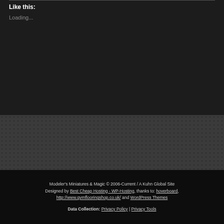Like this:
Loading...
Modeler's Miniatures & Magic © 2006-Current / A Kuhn Global Site Designed by Best Cheap Hosting - WP-Hosting, thanks to: hoverboard, http://www.gymflooringshop.co.uk/ and WordPress Themes
Data Collection: Privacy Policy | Privacy Tools